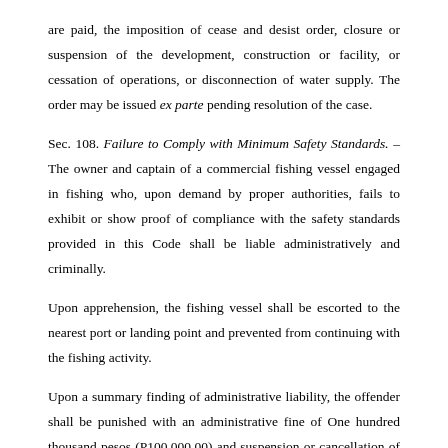are paid, the imposition of cease and desist order, closure or suspension of the development, construction or facility, or cessation of operations, or disconnection of water supply. The order may be issued ex parte pending resolution of the case.
Sec. 108. Failure to Comply with Minimum Safety Standards. – The owner and captain of a commercial fishing vessel engaged in fishing who, upon demand by proper authorities, fails to exhibit or show proof of compliance with the safety standards provided in this Code shall be liable administratively and criminally.
Upon apprehension, the fishing vessel shall be escorted to the nearest port or landing point and prevented from continuing with the fishing activity.
Upon a summary finding of administrative liability, the offender shall be punished with an administrative fine of One hundred thousand pesos (P100,000.00) and suspension or cancellation of permit or license and impoundment of the vessel until the safety standard has been complied with.
Upon conviction by a court of law, the offender shall suffer the penalties of